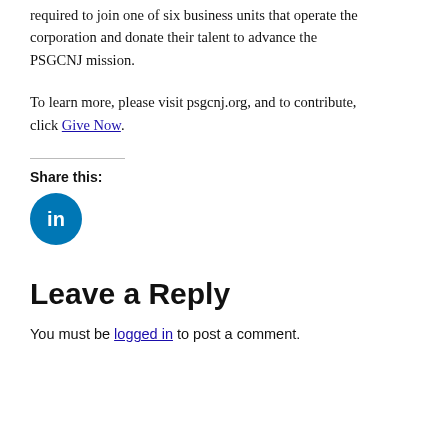required to join one of six business units that operate the corporation and donate their talent to advance the PSGCNJ mission.
To learn more, please visit psgcnj.org, and to contribute, click Give Now.
Share this:
[Figure (logo): LinkedIn circular blue icon with 'in' text]
Leave a Reply
You must be logged in to post a comment.